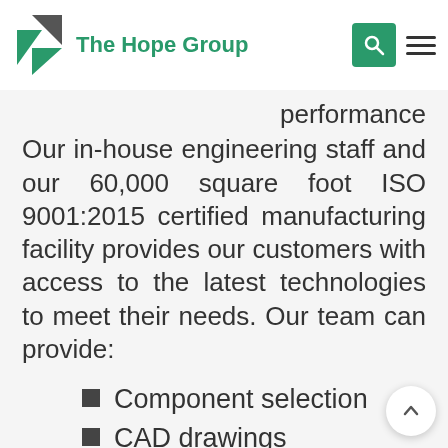The Hope Group
performance Our in-house engineering staff and our 60,000 square foot ISO 9001:2015 certified manufacturing facility provides our customers with access to the latest technologies to meet their needs. Our team can provide:
Component selection
CAD drawings
Full documentation